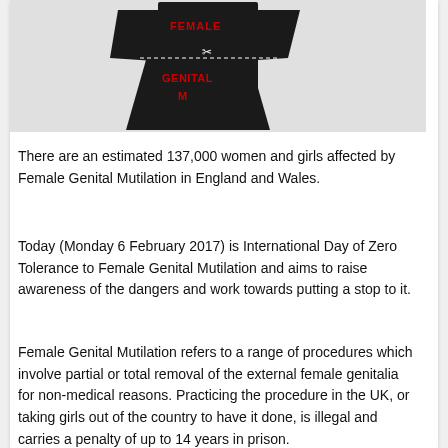[Figure (illustration): Illustration of a female silhouette/dress in black with red text reading 'FEMALE GENITAL MUTILATION' and a scissors graphic cutting across the middle, on a grey background.]
There are an estimated 137,000 women and girls affected by Female Genital Mutilation in England and Wales.
Today (Monday 6 February 2017) is International Day of Zero Tolerance to Female Genital Mutilation and aims to raise awareness of the dangers and work towards putting a stop to it.
Female Genital Mutilation refers to a range of procedures which involve partial or total removal of the external female genitalia for non-medical reasons. Practicing the procedure in the UK, or taking girls out of the country to have it done, is illegal and carries a penalty of up to 14 years in prison.